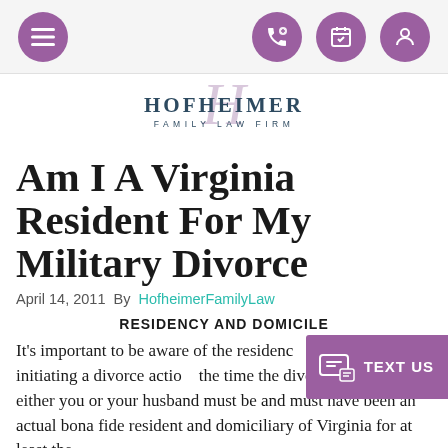[Navigation bar with menu, phone, calendar, and account icons]
[Figure (logo): Hofheimer Family Law Firm logo with stylized script H and serif text HOFHEIMER / FAMILY LAW FIRM]
Am I A Virginia Resident For My Military Divorce
April 14, 2011  By  HofheimerFamilyLaw
RESIDENCY AND DOMICILE
It's important to be aware of the residency requirements of initiating a divorce action. At the time the divorce suit is filed, either you or your husband must be and must have been an actual bona fide resident and domiciliary of Virginia for at least the